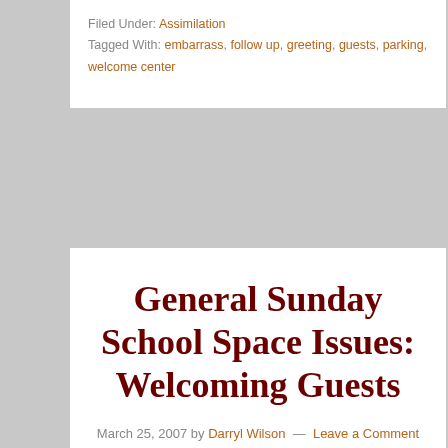Filed Under: Assimilation
Tagged With: embarrass, follow up, greeting, guests, parking, welcome center
General Sunday School Space Issues: Welcoming Guests
March 25, 2007 by Darryl Wilson — Leave a Comment
[Figure (photo): Outdoor parking lot scene with a car and people in yellow vests directing parking, trees in background]